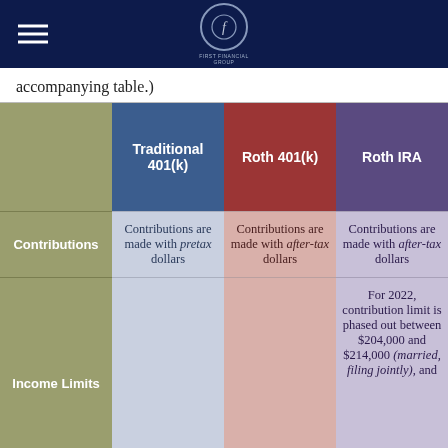First Financial Group logo and navigation
accompanying table.)
|  | Traditional 401(k) | Roth 401(k) | Roth IRA |
| --- | --- | --- | --- |
| Contributions | Contributions are made with pretax dollars | Contributions are made with after-tax dollars | Contributions are made with after-tax dollars |
| Income Limits | No income limits to participate | No income limits to participate | For 2022, contribution limit is phased out between $204,000 and $214,000 (married, filing jointly), and... |